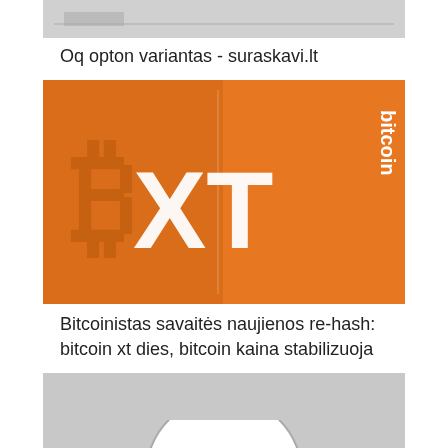[Figure (screenshot): Small thumbnail image of a chart or graph, partially visible at top of page]
Oq opton variantas - suraskavi.lt
[Figure (logo): Bitcoin XT logo — orange background with large 'BXT' letters and Bitcoin symbol, 'bitcoin' text vertically on right side]
Bitcoinistas savaitės naujienos re-hash: bitcoin xt dies, bitcoin kaina stabilizuoja
[Figure (photo): No image available placeholder — gray background with circular border showing 'NO IMAGE AVAILABLE' text]
Bitcoin kaina - suraskavi.lt
[Figure (photo): Broken image icon for 'Padarykite mane turtingu']
Padarykite mane turtingu